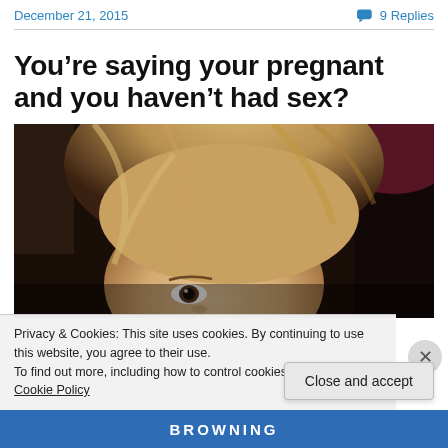December 21, 2015   9 Replies
You’re saying your pregnant and you haven’t had sex?
[Figure (photo): Close-up photo of a young blonde woman peering upward, face partially visible from below the frame, dark background.]
Privacy & Cookies: This site uses cookies. By continuing to use this website, you agree to their use.
To find out more, including how to control cookies, see here: Cookie Policy
Close and accept
BROWNING